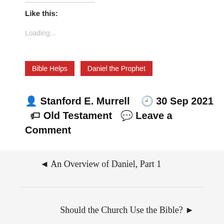Like this:
Loading...
Bible Helps
Daniel the Prophet
Stanford E. Murrell  30 Sep 2021  Old Testament  Leave a Comment
◄  An Overview of Daniel, Part 1
Should the Church Use the Bible?  ►